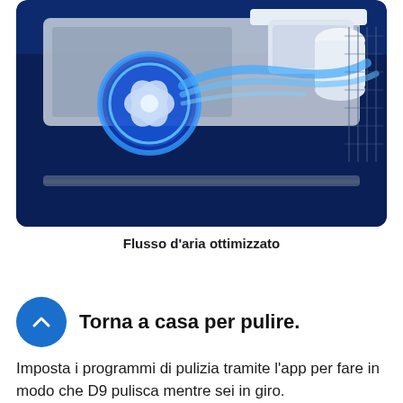[Figure (illustration): Technical cutaway illustration of a vacuum cleaner motor/fan unit with blue glowing airflow visualization on a dark navy blue background. Shows internal components with stylized blue light swirling around a white cylindrical motor component.]
Flusso d'aria ottimizzato
[Figure (illustration): Blue circle icon with a white upward-pointing chevron (caret) symbol, used as a decorative UI element.]
Torna a casa per pulire.
Imposta i programmi di pulizia tramite l'app per fare in modo che D9 pulisca mentre sei in giro.